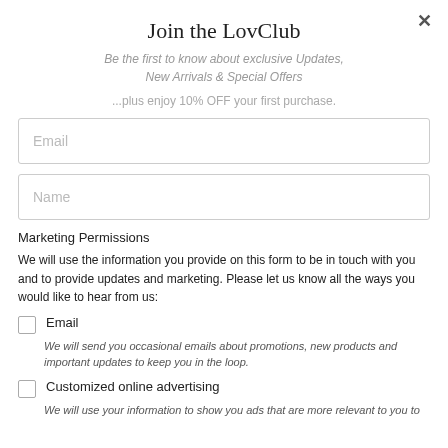Join the LovClub
Be the first to know about exclusive Updates, New Arrivals & Special Offers
...plus enjoy 10% OFF your first purchase.
Email
Name
Marketing Permissions
We will use the information you provide on this form to be in touch with you and to provide updates and marketing. Please let us know all the ways you would like to hear from us:
Email
We will send you occasional emails about promotions, new products and important updates to keep you in the loop.
Customized online advertising
We will use your information to show you ads that are more relevant to you to